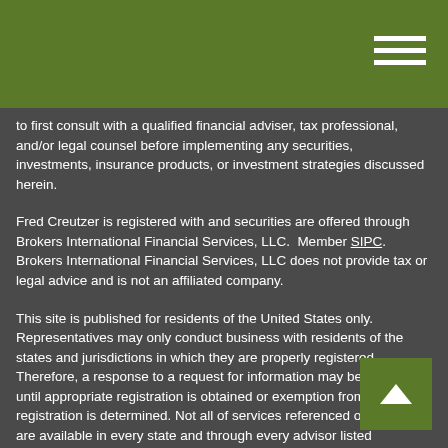to first consult with a qualified financial adviser, tax professional, and/or legal counsel before implementing any securities, investments, insurance products, or investment strategies discussed herein.
Fred Creutzer is registered with and securities are offered through Brokers International Financial Services, LLC.  Member SIPC. Brokers International Financial Services, LLC does not provide tax or legal advice and is not an affiliated company.
This site is published for residents of the United States only. Representatives may only conduct business with residents of the states and jurisdictions in which they are properly registered. Therefore, a response to a request for information may be delayed until appropriate registration is obtained or exemption from registration is determined. Not all of services referenced on this site are available in every state and through every advisor listed additional information, please contact Fred Creutzer at 410-3888.